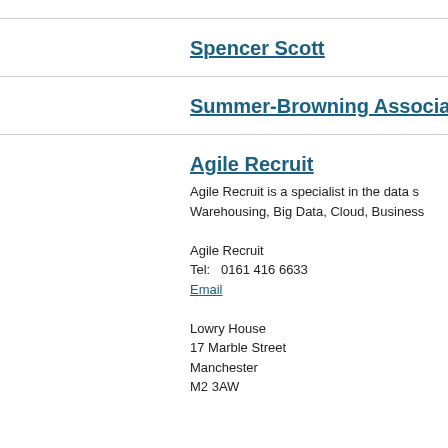Spencer Scott
Summer-Browning Associates
Agile Recruit
Agile Recruit is a specialist in the data s... Warehousing, Big Data, Cloud, Business...
Agile Recruit
Tel:   0161 416 6633
Email

Lowry House
17 Marble Street
Manchester
M2 3AW